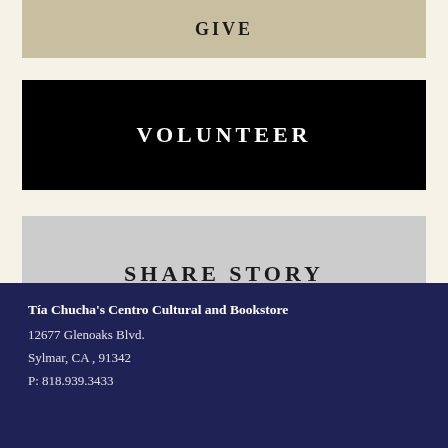GIVE
VOLUNTEER
SHARE STORY
Tía Chucha's Centro Cultural and Bookstore
12677 Glenoaks Blvd.
Sylmar, CA , 91342
P: 818.939.3433